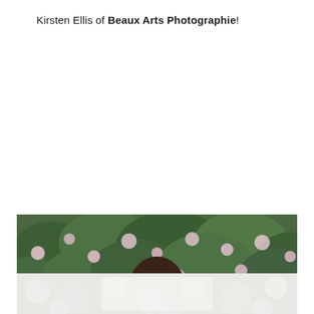Kirsten Ellis of Beaux Arts Photographie!
[Figure (photo): A bride with dark hair in an updo, wearing earrings, looking downward with eyes cast down, in front of lush green foliage with pale pink flowers. She is wearing a white dress visible at the bottom. The image is cropped horizontally.]